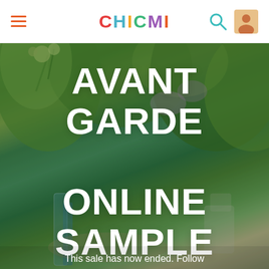CHICMI navigation bar with hamburger menu, logo, search and profile icons
[Figure (photo): Garden/outdoor dining scene with lush green trees, flowers, glass vases and tableware as background image for Avant Garde Online Sample Sale promotion]
AVANT GARDE ONLINE SAMPLE SALE
This sale has now ended. Follow Avant Garde to be notified the next time they host a sale.